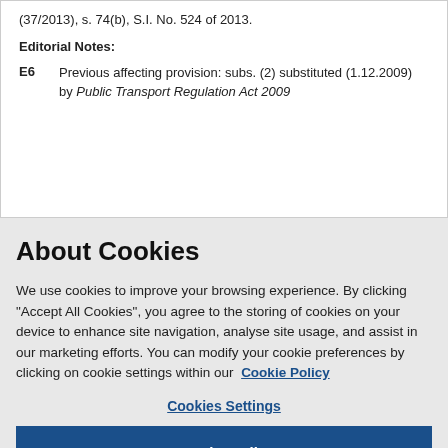(37/2013), s. 74(b), S.I. No. 524 of 2013.
Editorial Notes:
E6  Previous affecting provision: subs. (2) substituted (1.12.2009) by Public Transport Regulation Act 2009
About Cookies
We use cookies to improve your browsing experience. By clicking “Accept All Cookies”, you agree to the storing of cookies on your device to enhance site navigation, analyse site usage, and assist in our marketing efforts. You can modify your cookie preferences by clicking on cookie settings within our  Cookie Policy
Cookies Settings
Reject All
Accept All Cookies